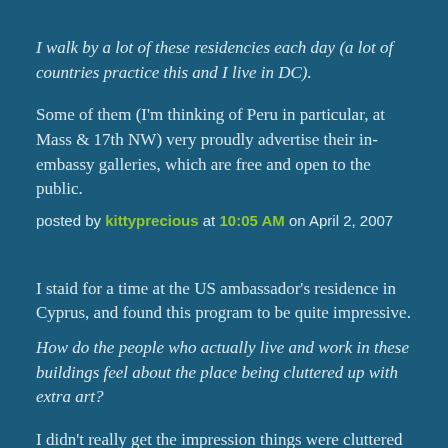I walk by a lot of these residencies each day (a lot of countries practice this and I live in DC).
Some of them (I'm thinking of Peru in particular, at Mass & 17th NW) very proudly advertise their in-embassy galleries, which are free and open to the public.
posted by kittyprecious at 10:05 AM on April 2, 2007
I staid for a time at the US ambassador's residence in Cyprus, and found this program to be quite impressive.
How do the people who actually live and work in these buildings feel about the place being cluttered up with extra art?
I didn't really get the impression things were cluttered -- I